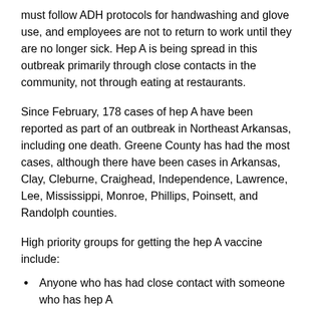must follow ADH protocols for handwashing and glove use, and employees are not to return to work until they are no longer sick. Hep A is being spread in this outbreak primarily through close contacts in the community, not through eating at restaurants.
Since February, 178 cases of hep A have been reported as part of an outbreak in Northeast Arkansas, including one death. Greene County has had the most cases, although there have been cases in Arkansas, Clay, Cleburne, Craighead, Independence, Lawrence, Lee, Mississippi, Monroe, Phillips, Poinsett, and Randolph counties.
High priority groups for getting the hep A vaccine include:
Anyone who has had close contact with someone who has hep A
Food workers
People who use drugs, whether injected or not
People experiencing homelessness, transient, or unstable housing
People who have been recently incarcerated